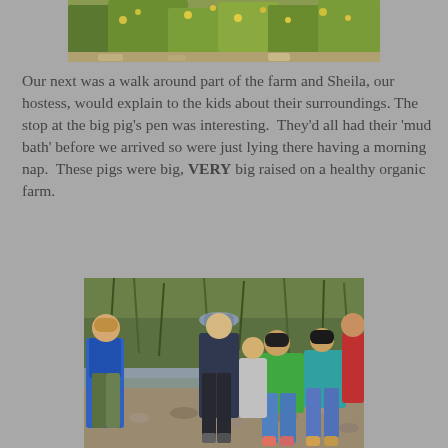[Figure (photo): Partial view of a farm with green and yellow flowering plants and shrubs at the top of the page.]
Our next was a walk around part of the farm and Sheila, our hostess, would explain to the kids about their surroundings. The stop at the big pig's pen was interesting.  They'd all had their 'mud bath' before we arrived so were just lying there having a morning nap.  These pigs were big, VERY big raised on a healthy organic farm.
[Figure (photo): Children standing near a stream or pond on rocky ground, bending over to look at something in the water. Green reeds and plants visible in the background. Children are wearing colorful summer clothing.]